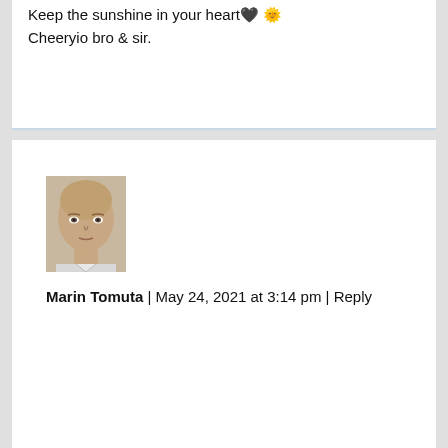Keep the sunshine in your heart 🖤 🌟
Cheeryio bro & sir.
[Figure (photo): Profile photo of a bald middle-aged man with a neutral expression, shown from shoulders up against a light background.]
Marin Tomuta | May 24, 2021 at 3:14 pm | Reply